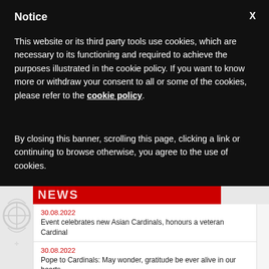Notice
This website or its third party tools use cookies, which are necessary to its functioning and required to achieve the purposes illustrated in the cookie policy. If you want to know more or withdraw your consent to all or some of the cookies, please refer to the cookie policy.
By closing this banner, scrolling this page, clicking a link or continuing to browse otherwise, you agree to the use of cookies.
[Figure (screenshot): News website section showing three news items dated 30.08.2022: 'Event celebrates new Asian Cardinals, honours a veteran Cardinal', 'Pope to Cardinals: May wonder, gratitude be ever alive in our hearts', 'Curia Reform Meeting concludes with focus on 2025 Jubilee of Hope']
30.08.2022 — Event celebrates new Asian Cardinals, honours a veteran Cardinal
30.08.2022 — Pope to Cardinals: May wonder, gratitude be ever alive in our hearts
30.08.2022 — Curia Reform Meeting concludes with focus on 2025 Jubilee of Hope